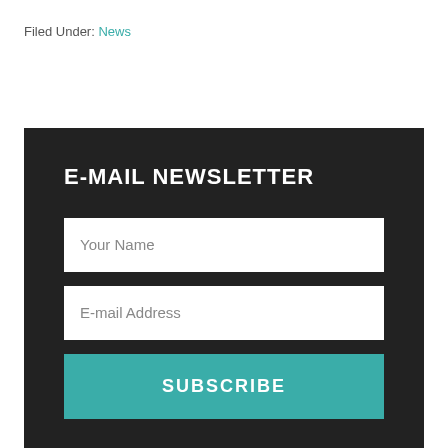Filed Under: News
[Figure (other): E-mail newsletter signup form with dark background, containing 'Your Name' and 'E-mail Address' input fields, and a teal SUBSCRIBE button]
E-MAIL NEWSLETTER